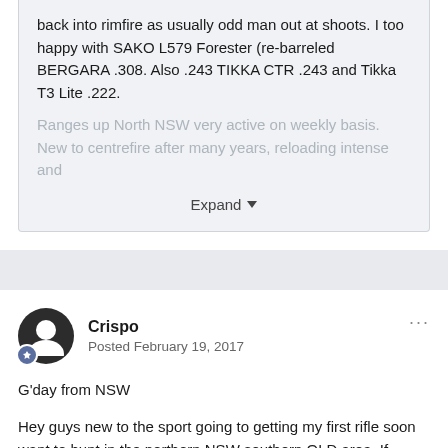back into rimfire as usually odd man out at shoots. I too happy with SAKO L579 Forester (re-barreled BERGARA .308. Also .243 TIKKA CTR .243 and Tikka T3 Lite .222.
Ranges up North NSW very active on weekly basis. New to centrefire after many years, reloading intense and
Expand
Crispo
Posted February 19, 2017
G'day from NSW
Hey guys new to the sport going to getting my first rifle soon want to hunt in the northern NSW southern QLD area. If anyone can help me on buying my first rifle would be much appreciated.